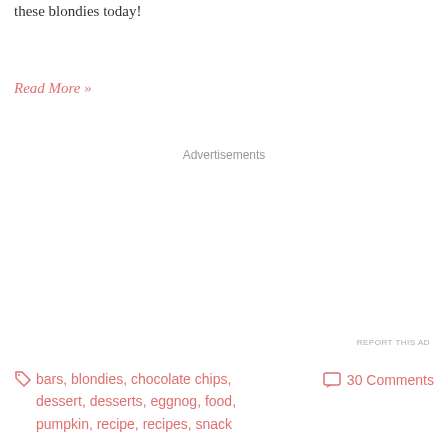these blondies today!
Read More »
Advertisements
REPORT THIS AD
bars, blondies, chocolate chips, dessert, desserts, eggnog, food, pumpkin, recipe, recipes, snack
30 Comments